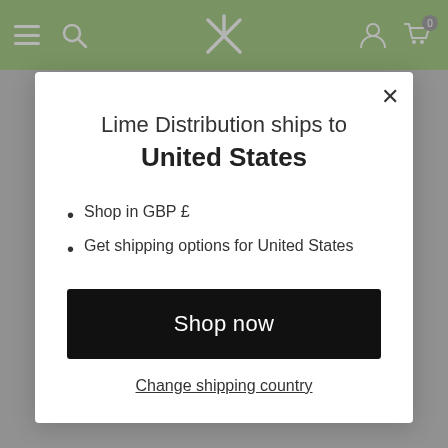[Figure (screenshot): Green navigation header bar with hamburger menu, search icon, brand logo (X mark), user icon, and cart icon with badge showing 0]
Lime Distribution ships to United States
Shop in GBP £
Get shipping options for United States
Shop now
Change shipping country